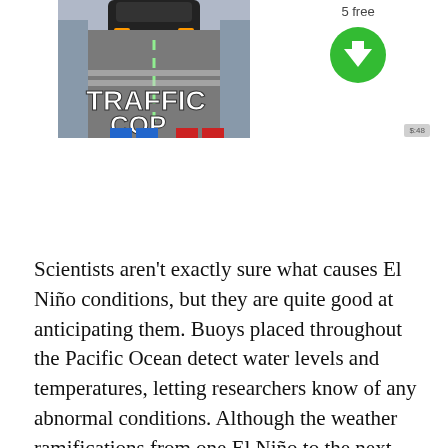[Figure (screenshot): Advertisement for a mobile game called Traffic Cop, showing a road with cars from an overhead angle, bold white text reading TRAFFIC COP at the bottom]
[Figure (infographic): Green circle button with a white downward arrow, indicating a download action, with '5 free' text above it]
[Figure (other): Small gray badge with '$:48' text, possibly a price or ad label]
Scientists aren't exactly sure what causes El Niño conditions, but they are quite good at anticipating them. Buoys placed throughout the Pacific Ocean detect water levels and temperatures, letting researchers know of any abnormal conditions. Although the weather ramifications from one El Niño to the next